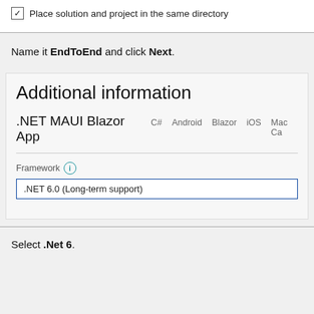[Figure (screenshot): Checkbox with checkmark labeled 'Place solution and project in the same directory']
Name it EndToEnd and click Next.
[Figure (screenshot): Additional information dialog showing .NET MAUI Blazor App with Framework dropdown set to .NET 6.0 (Long-term support)]
Select .Net 6.